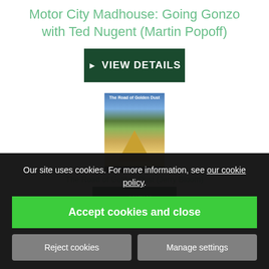Motor City Madhouse: Going Gonzo with Ted Nugent (Martin Popoff)
[Figure (other): Green VIEW DETAILS button with play arrow icon on dark green background]
[Figure (illustration): Book cover for 'The Road of Golden Dust' showing Mount Rushmore with a golden road/triangle in the foreground]
The Road of Golden Dust (Jerry Bloom)
[Figure (other): Second VIEW DETAILS button]
Our site uses cookies. For more information, see our cookie policy.
Accept cookies and close
Reject cookies
Manage settings